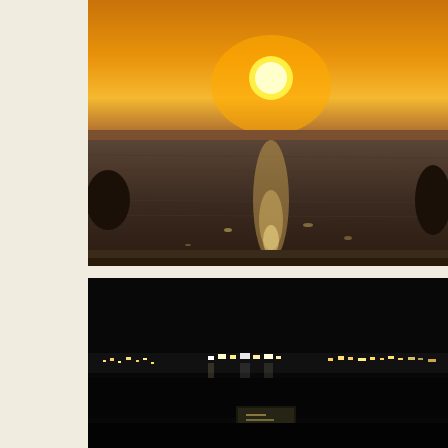[Figure (photo): Ocean sunset photograph taken from a boat. A bright golden-orange sun is setting on the horizon over dark choppy ocean water. Light reflects off the water in a bright path. Silhouettes of people are visible at the edges of the frame.]
[Figure (photo): Night photograph of a waterfront or harbor area. The scene is mostly dark/black with city lights and pier lights visible along the horizon. A small illuminated sign or object is visible in the lower center of the frame.]